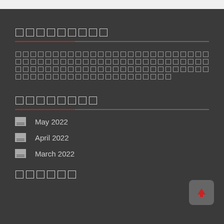█████████ (redacted/non-latin script)
█████████████████████████████████████████████████████████████ (redacted/non-latin script paragraph)
████████ (redacted/non-latin script)
May 2022
April 2022
March 2022
██████ (redacted/non-latin script)